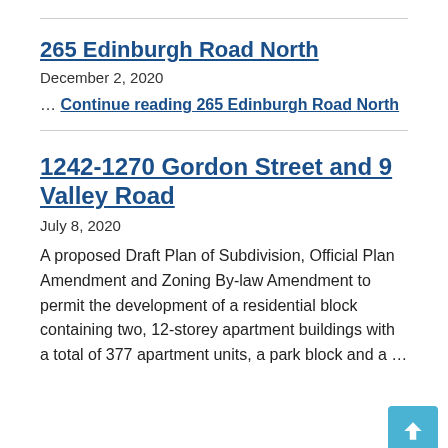265 Edinburgh Road North
December 2, 2020
… Continue reading 265 Edinburgh Road North
1242-1270 Gordon Street and 9 Valley Road
July 8, 2020
A proposed Draft Plan of Subdivision, Official Plan Amendment and Zoning By-law Amendment to permit the development of a residential block containing two, 12-storey apartment buildings with a total of 377 apartment units, a park block and a …